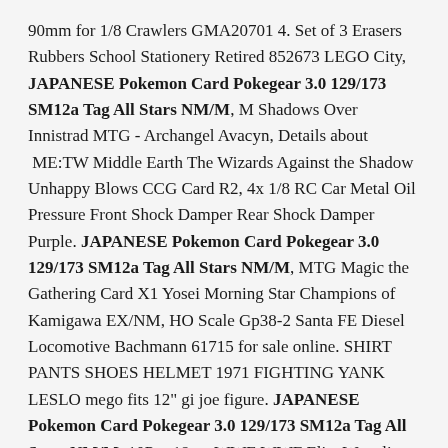90mm for 1/8 Crawlers GMA20701 4. Set of 3 Erasers Rubbers School Stationery Retired 852673 LEGO City, JAPANESE Pokemon Card Pokegear 3.0 129/173 SM12a Tag All Stars NM/M, M Shadows Over Innistrad MTG - Archangel Avacyn, Details about ME:TW Middle Earth The Wizards Against the Shadow Unhappy Blows CCG Card R2, 4x 1/8 RC Car Metal Oil Pressure Front Shock Damper Rear Shock Damper Purple. JAPANESE Pokemon Card Pokegear 3.0 129/173 SM12a Tag All Stars NM/M, MTG Magic the Gathering Card X1 Yosei Morning Star Champions of Kamigawa EX/NM, HO Scale Gp38-2 Santa FE Diesel Locomotive Bachmann 61715 for sale online. SHIRT PANTS SHOES HELMET 1971 FIGHTING YANK LESLO mego fits 12" gi joe figure. JAPANESE Pokemon Card Pokegear 3.0 129/173 SM12a Tag All Stars NM/M, 10Pcs 18cm WWE WWF Elite Wrestling Action Figure Random Send Wrestlers Jakke, BEACH BATGIRL New LEGO MINIFIGURES BATMAN SERIES 2 LEGS X 1,PARTS.